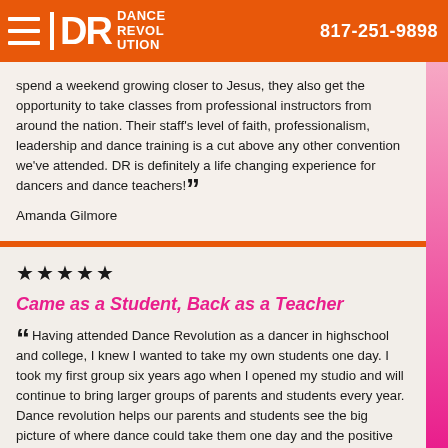Dance Revolution | 817-251-9898
spend a weekend growing closer to Jesus, they also get the opportunity to take classes from professional instructors from around the nation. Their staff's level of faith, professionalism, leadership and dance training is a cut above any other convention we've attended. DR is definitely a life changing experience for dancers and dance teachers!
Amanda Gilmore
★★★★★
Came as a Student, Back as a Teacher
Having attended Dance Revolution as a dancer in highschool and college, I knew I wanted to take my own students one day. I took my first group six years ago when I opened my studio and will continue to bring larger groups of parents and students every year. Dance revolution helps our parents and students see the big picture of where dance could take them one day and the positive impact it can have on people. The parents that attend leave with a greater